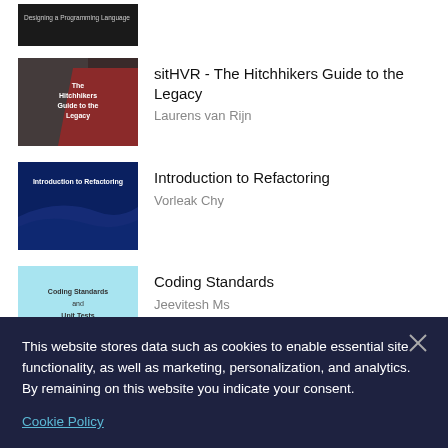[Figure (illustration): Partial book cover thumbnail – dark background, text 'Designing a Programming Language']
[Figure (illustration): Book cover: 'The Hitchhikers Guide to the Legacy' – dark red/maroon background with person image]
sitHVR - The Hitchhikers Guide to the Legacy
Laurens van Rijn
[Figure (illustration): Book cover: 'Introduction to Refactoring' – dark blue background with wave shapes]
Introduction to Refactoring
Vorleak Chy
[Figure (illustration): Book cover: 'Coding Standards and Unit Tests' – light blue/teal background]
Coding Standards
Jeevitesh Ms
This website stores data such as cookies to enable essential site functionality, as well as marketing, personalization, and analytics. By remaining on this website you indicate your consent.
Cookie Policy